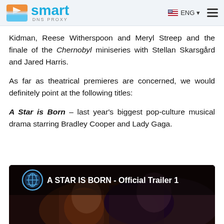Smart DNS Proxy - ENG
Kidman, Reese Witherspoon and Meryl Streep and the finale of the Chernobyl miniseries with Stellan Skarsgård and Jared Harris.
As far as theatrical premieres are concerned, we would definitely point at the following titles:
A Star is Born – last year's biggest pop-culture musical drama starring Bradley Cooper and Lady Gaga.
[Figure (screenshot): YouTube video thumbnail for 'A STAR IS BORN - Official Trailer 1' with Warner Bros logo, showing two people in dark cinematic setting]